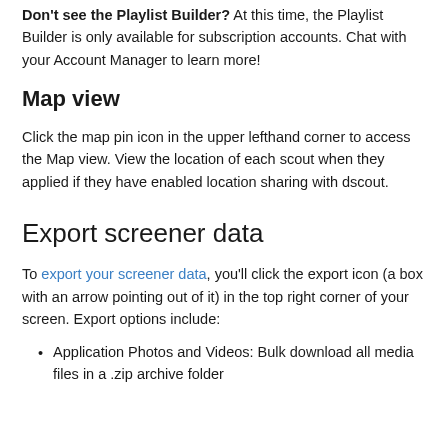Don't see the Playlist Builder? At this time, the Playlist Builder is only available for subscription accounts. Chat with your Account Manager to learn more!
Map view
Click the map pin icon in the upper lefthand corner to access the Map view. View the location of each scout when they applied if they have enabled location sharing with dscout.
Export screener data
To export your screener data, you'll click the export icon (a box with an arrow pointing out of it) in the top right corner of your screen. Export options include:
Application Photos and Videos: Bulk download all media files in a .zip archive folder